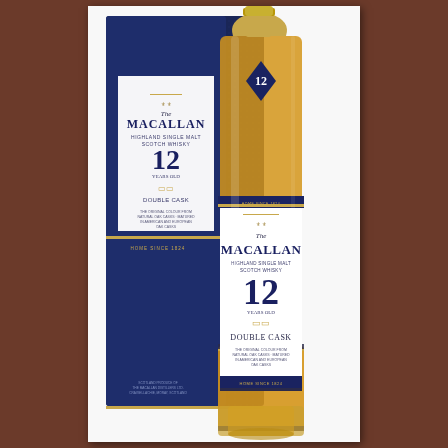[Figure (photo): Product photo of The Macallan 12 Years Old Double Cask Highland Single Malt Scotch Whisky bottle with its navy blue gift box. The bottle is in the foreground showing a white label with gold and blue details, and a blue diamond-shaped neck label showing '12'. The box behind it is dark navy blue with a textured pattern. Both display The Macallan branding. Background is a dark wooden surface.]